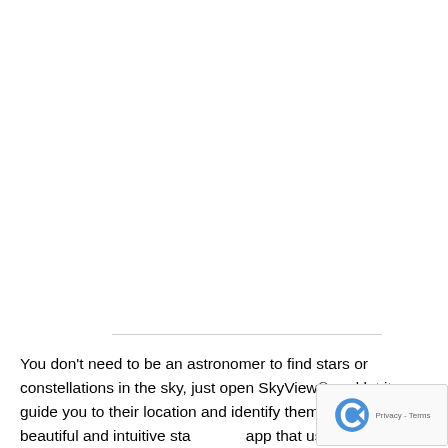You don't need to be an astronomer to find stars or constellations in the sky, just open SkyView® and let it guide you to their location and identify them. SkyView® is a beautiful and intuitive stargazing app that uses your camera to precisely spot and identify celestial